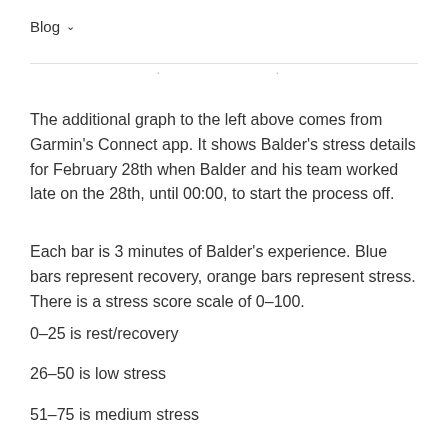Blog ˅
The additional graph to the left above comes from Garmin's Connect app. It shows Balder's stress details for February 28th when Balder and his team worked late on the 28th, until 00:00, to start the process off.
Each bar is 3 minutes of Balder's experience. Blue bars represent recovery, orange bars represent stress. There is a stress score scale of 0–100.
0–25 is rest/recovery
26–50 is low stress
51–75 is medium stress